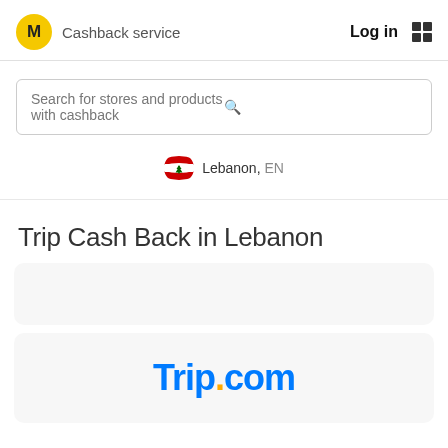M  Cashback service    Log in  ☰
Search for stores and products with cashback
Lebanon, EN
Trip Cash Back in Lebanon
[Figure (logo): Trip.com logo in blue with orange dot]
Trip.com